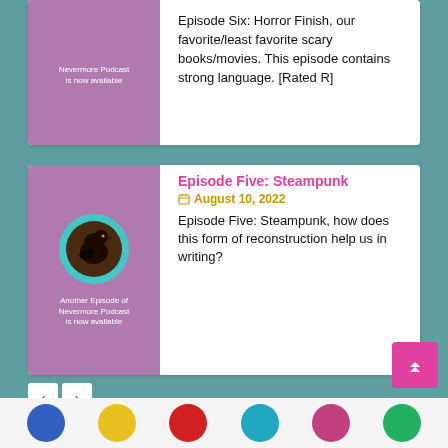[Figure (illustration): Purple card thumbnail for Episode Six with raven/podcast branding text]
Episode Six: Horror Finish, our favorite/least favorite scary books/movies. This episode contains strong language. [Rated R]
[Figure (illustration): Purple card thumbnail for Episode Five with raven bird in teal circle, text: Another Episode of Nevermore Podcast is now available]
Episode Five: Steampunk
August 10, 2022
Episode Five: Steampunk, how does this form of reconstruction help us in writing?